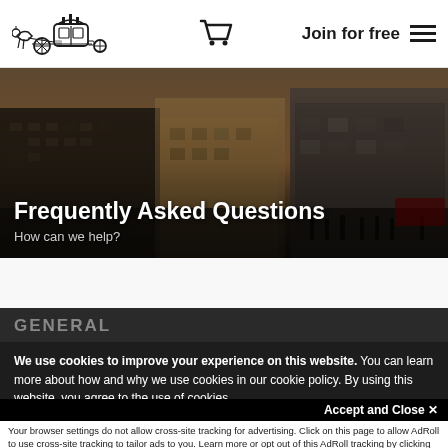Logo | Cart | Join for free | Menu
[Figure (photo): London street scene with historic buildings, people, and city traffic under a dramatic sky]
Frequently Asked Questions
How can we help?
GENERAL
We use cookies to improve your experience on this website. You can learn more about how and why we use cookies in our cookie policy. By using this website, you agree to the use of cookies.
Accept and Close ✕
Your browser settings do not allow cross-site tracking for advertising. Click on this page to allow AdRoll to use cross-site tracking to tailor ads to you. Learn more or opt out of this AdRoll tracking by clicking here. This message only appears once.